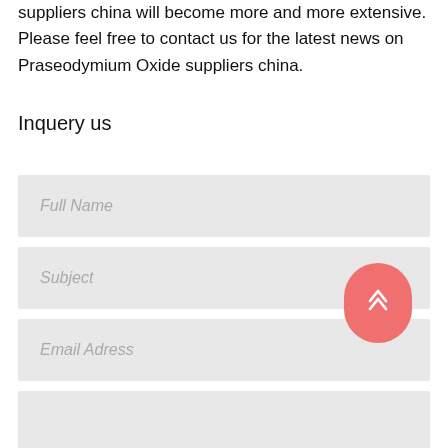suppliers china will become more and more extensive. Please feel free to contact us for the latest news on Praseodymium Oxide suppliers china.
Inquery us
Full Name
Subject
Email Adress
Phone Number